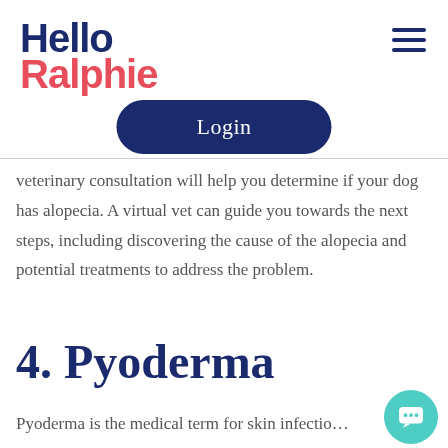Hello Ralphie
veterinary consultation will help you determine if your dog has alopecia. A virtual vet can guide you towards the next steps, including discovering the cause of the alopecia and potential treatments to address the problem.
4. Pyoderma
Pyoderma is the medical term for skin infectio…